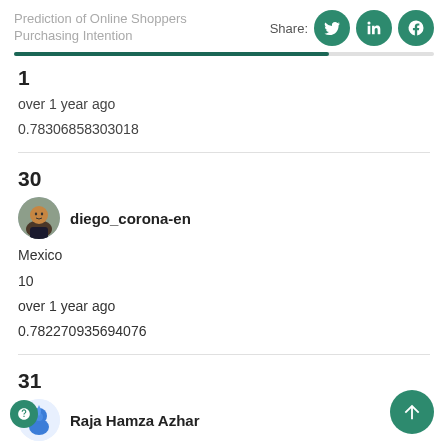Prediction of Online Shoppers Purchasing Intention
1
over 1 year ago
0.78306858303018
30
diego_corona-en
Mexico
10
over 1 year ago
0.782270935694076
31
Raja Hamza Azhar
akistan